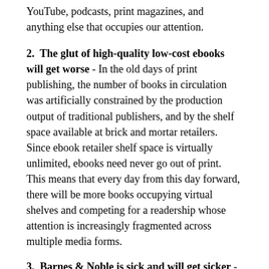YouTube, podcasts, print magazines, and anything else that occupies our attention.
2.  The glut of high-quality low-cost ebooks will get worse - In the old days of print publishing, the number of books in circulation was artificially constrained by the production output of traditional publishers, and by the shelf space available at brick and mortar retailers.  Since ebook retailer shelf space is virtually unlimited, ebooks need never go out of print.  This means that every day from this day forward, there will be more books occupying virtual shelves and competing for a readership whose attention is increasingly fragmented across multiple media forms.
3.  Barnes & Noble is sick and will get sicker - I love Barnes & Noble.  They're our second-largest sales channel after Apple iBooks.  The ebook team at B&N is excellent.  But their ebook business is in trouble.  It's shrinking every year, and that shrinkage makes it difficult for them to give the business the investment it requires.  The company is further distracted by activist